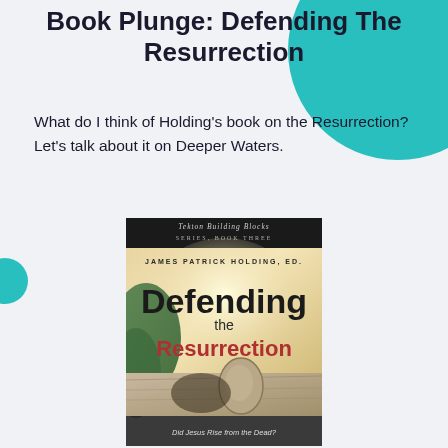Book Plunge: Defending The Resurrection
What do I think of Holding's book on the Resurrection? Let's talk about it on Deeper Waters.
[Figure (photo): Book cover of 'Defending the Resurrection' by James Patrick Holding, Ed. — part of the Tekton Building Blocks Series, Book Three. The cover shows a stone tomb entrance with a large stone. The title 'Defending' is in large black text, 'the' in smaller dark text, 'Resurrection' in large red text. A subtitle reads 'Did Jesus Rise from the Dead?']